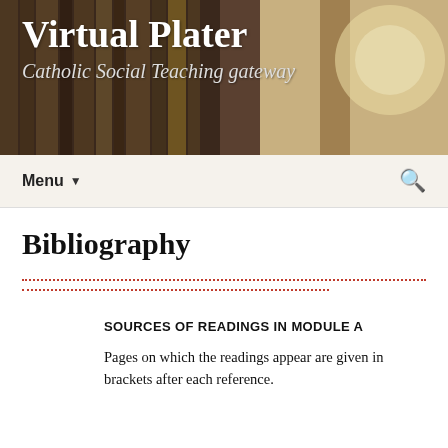Virtual Plater
Catholic Social Teaching gateway
Bibliography
SOURCES OF READINGS IN MODULE A
Pages on which the readings appear are given in brackets after each reference.